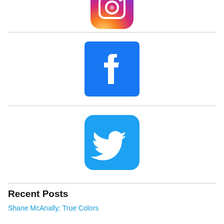[Figure (logo): Instagram logo icon (partial, top cropped)]
[Figure (logo): Facebook logo icon — blue rounded square with white 'f']
[Figure (logo): Twitter logo icon — light blue rounded square with white bird]
Recent Posts
Shane McAnally: True Colors